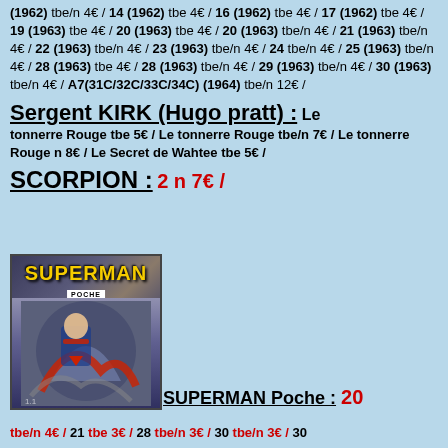(1962) tbe/n 4€ / 14 (1962) tbe 4€ / 16 (1962) tbe 4€ / 17 (1962) tbe 4€ / 19 (1963) tbe 4€ / 20 (1963) tbe 4€ / 20 (1963) tbe/n 4€ / 21 (1963) tbe/n 4€ / 22 (1963) tbe/n 4€ / 23 (1963) tbe/n 4€ / 24 tbe/n 4€ / 25 (1963) tbe/n 4€ / 28 (1963) tbe 4€ / 28 (1963) tbe/n 4€ / 29 (1963) tbe/n 4€ / 30 (1963) tbe/n 4€ / A7(31C/32C/33C/34C) (1964) tbe/n 12€ /
Sergent KIRK (Hugo pratt) : Le tonnerre Rouge tbe 5€ / Le tonnerre Rouge tbe/n 7€ / Le tonnerre Rouge n 8€ / Le Secret de Wahtee tbe 5€ /
SCORPION : 2 n 7€ /
[Figure (photo): Superman Poche comic book cover showing Superman figure in action]
SUPERMAN Poche : 20 tbe/n 4€ / 21 tbe 3€ / 28 tbe/n 3€ / 30 tbe/n 3€ / 30